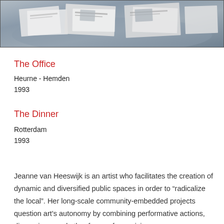[Figure (photo): Photograph of a table or display surface showing various printed documents, papers, and publications spread out, viewed from above at an angle.]
The Office
Heurne - Hemden
1993
The Dinner
Rotterdam
1993
Jeanne van Heeswijk is an artist who facilitates the creation of dynamic and diversified public spaces in order to “radicalize the local”. Her long-scale community-embedded projects question art’s autonomy by combining performative actions, discussions, and other forms of organizing